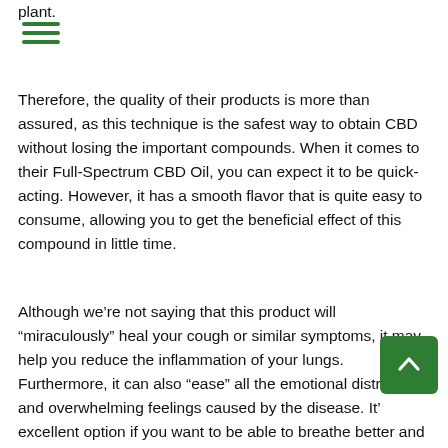plant.
[Figure (other): Hamburger menu icon with three green horizontal lines]
Therefore, the quality of their products is more than assured, as this technique is the safest way to obtain CBD without losing the important compounds. When it comes to their Full-Spectrum CBD Oil, you can expect it to be quick-acting. However, it has a smooth flavor that is quite easy to consume, allowing you to get the beneficial effect of this compound in little time.
Although we’re not saying that this product will “miraculously” heal your cough or similar symptoms, it may help you reduce the inflammation of your lungs. Furthermore, it can also “ease” all the emotional distr... and overwhelming feelings caused by the disease. It’... excellent option if you want to be able to breathe better and increase the quality of your sleep while also keeping your